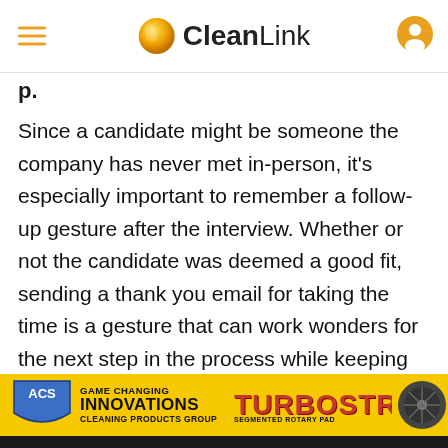CleanLink
Since a candidate might be someone the company has never met in-person, it’s especially important to remember a follow-up gesture after the interview. Whether or not the candidate was deemed a good fit, sending a thank you email for taking the time is a gesture that can work wonders for the next step in the process while keeping the company in high regard for the candidate. It
[Figure (illustration): ACS Cleaning Products Group advertisement banner featuring yellow background, ACS shield logo, 'Game Changing Innovations' text, and TurboStrip Segmented Rotary Pad product imagery]